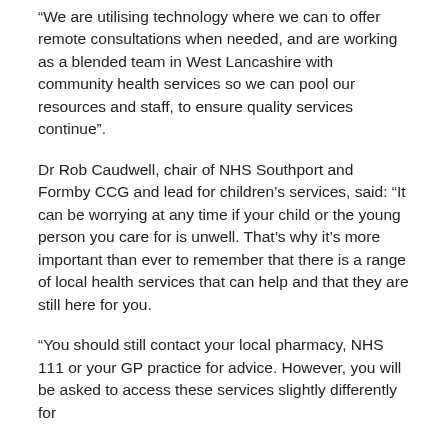“We are utilising technology where we can to offer remote consultations when needed, and are working as a blended team in West Lancashire with community health services so we can pool our resources and staff, to ensure quality services continue”.
Dr Rob Caudwell, chair of NHS Southport and Formby CCG and lead for children’s services, said: “It can be worrying at any time if your child or the young person you care for is unwell. That’s why it’s more important than ever to remember that there is a range of local health services that can help and that they are still here for you.
“You should still contact your local pharmacy, NHS 111 or your GP practice for advice. However, you will be asked to access these services slightly differently for